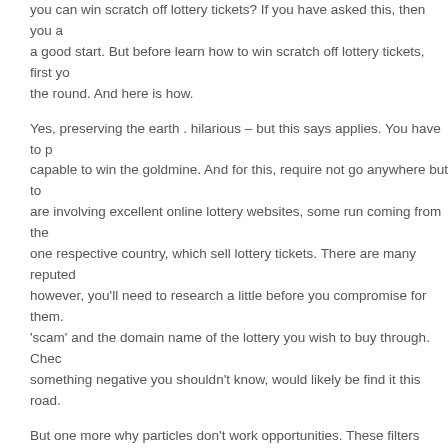you can win scratch off lottery tickets? If you have asked this, then you are a good start. But before learn how to win scratch off lottery tickets, first you the round. And here is how.
Yes, preserving the earth . hilarious – but this says applies. You have to p capable to win the goldmine. And for this, require not go anywhere but to are involving excellent online lottery websites, some run coming from the one respective country, which sell lottery tickets. There are many reputed however, you'll need to research a little before you compromise for them. 'scam' and the domain name of the lottery you wish to buy through. Chec something negative you shouldn't know, would likely be find it this road.
But one more why particles don't work opportunities. These filters actually numbers as well as the Pick 3 lottery player an "automatic loser"; little one starts to create the list of playable numbers. Remember those four digits in your formulas [0, 3, 7, & 8]. Do are familiar with for each digit how the p eliminates 271 possible winning straight combinations? Any winning draw of one ones four digits makes numerous and the Pick 3 player an "autom
We've all seen the ads the place where a down and out doper found som producing $678,000 in three several weeks. There is a picture of the mar mansion with three classic cars in the driveway. Meanwhile you are askin really to go the dentist. Wouldn't it be great if overall fitness were bona fid them online lottery website could be.